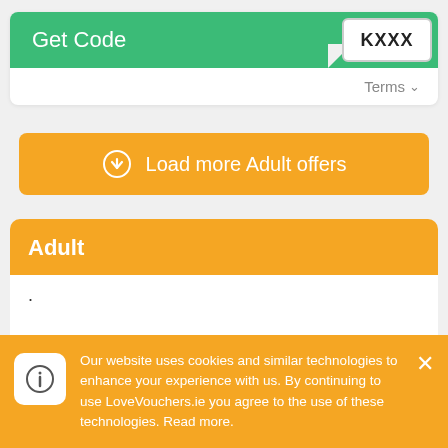[Figure (screenshot): Get Code button bar with green background and code badge showing KXXX]
Terms ∨
[Figure (screenshot): Orange button: Load more Adult offers with download circle icon]
Adult
·
Our website uses cookies and similar technologies to enhance your experience with us. By continuing to use LoveVouchers.ie you agree to the use of these technologies. Read more.